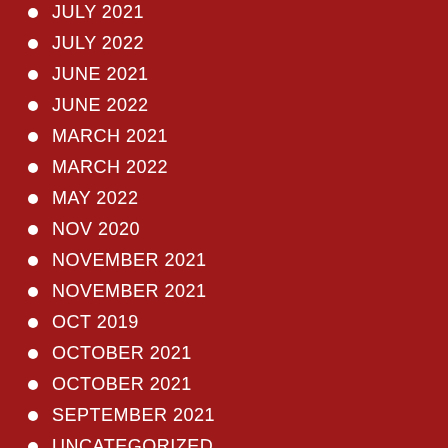JULY 2021
JULY 2022
JUNE 2021
JUNE 2022
MARCH 2021
MARCH 2022
MAY 2022
NOV 2020
NOVEMBER 2021
NOVEMBER 2021
OCT 2019
OCTOBER 2021
OCTOBER 2021
SEPTEMBER 2021
UNCATEGORIZED